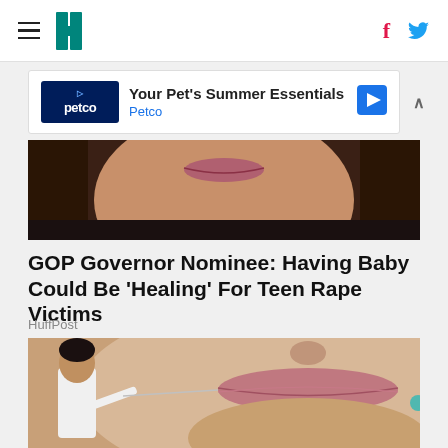HuffPost navigation header with hamburger menu, logo, Facebook and Twitter icons
[Figure (infographic): Petco advertisement banner: Your Pet's Summer Essentials - Petco]
[Figure (photo): Cropped close-up photo of a woman's face (lower portion visible)]
GOP Governor Nominee: Having Baby Could Be 'Healing' For Teen Rape Victims
HuffPost
[Figure (photo): Close-up photo of a woman's lips/lower face with a man in a white coat appearing to treat or inject her lips]